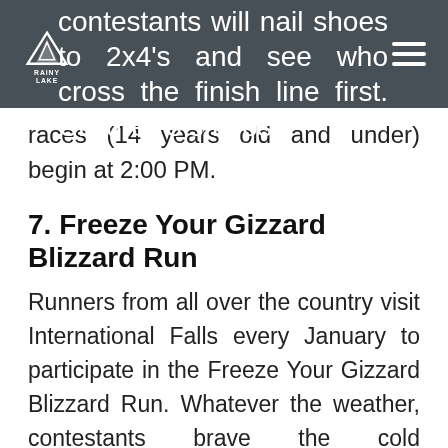Rainy Lake [logo]
contestants will nail shoes to 2x4's and see who cross the finish line first. Children's smoosh races (14 years old and under) begin at 2:00 PM.
7. Freeze Your Gizzard Blizzard Run
Runners from all over the country visit International Falls every January to participate in the Freeze Your Gizzard Blizzard Run. Whatever the weather, contestants brave the cold temperatures and frosty eyelashes and beards to walk, jog, or run across the 5K or 10K finish line.
8. Toilet Seat Toss
Just in case frozen turkey bowling isn't quite